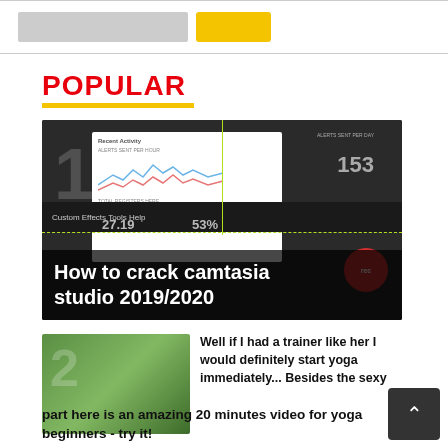[Figure (screenshot): Top bar with gray search input box and yellow button]
POPULAR
[Figure (screenshot): Thumbnail showing Camtasia Studio dashboard screenshot with title overlay 'How to crack camtasia studio 2019/2020']
How to crack camtasia studio 2019/2020
[Figure (photo): Woman doing yoga outdoors with number 2 overlay]
Well if I had a trainer like her I would definitely start yoga immediately... Besides the sexy part here is an amazing 20 minutes video for yoga beginners - try it!